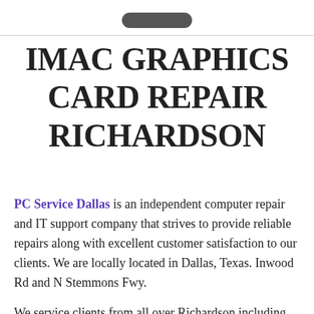IMAC GRAPHICS CARD REPAIR RICHARDSON
PC Service Dallas is an independent computer repair and IT support company that strives to provide reliable repairs along with excellent customer satisfaction to our clients. We are locally located in Dallas, Texas. Inwood Rd and N Stemmons Fwy.
We service clients from all over Richardson including Richardson Northstar Rd / E Renner Rd, Richardson N Collins Blvd / Fall Creek Dr, Richardson Mimosa Dr